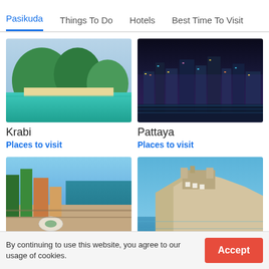Pasikuda | Things To Do | Hotels | Best Time To Visit
[Figure (photo): Aerial view of Krabi, Thailand, showing lush green limestone hills, turquoise sea, and sandy beach]
Krabi
Places to visit
[Figure (photo): Pattaya city skyline at night with glowing lights reflected on the water]
Pattaya
Places to visit
[Figure (photo): Aerial view of Colombo, Sri Lanka coastline with city buildings and beach road]
Colombo
[Figure (photo): Ibiza old town castle on rocky cliffs by blue water under clear sky]
Ibiza
By continuing to use this website, you agree to our usage of cookies.
Accept